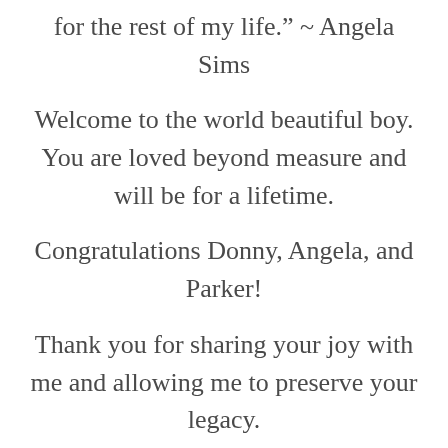for the rest of my life.” ~ Angela Sims
Welcome to the world beautiful boy. You are loved beyond measure and will be for a lifetime.
Congratulations Donny, Angela, and Parker!
Thank you for sharing your joy with me and allowing me to preserve your legacy.